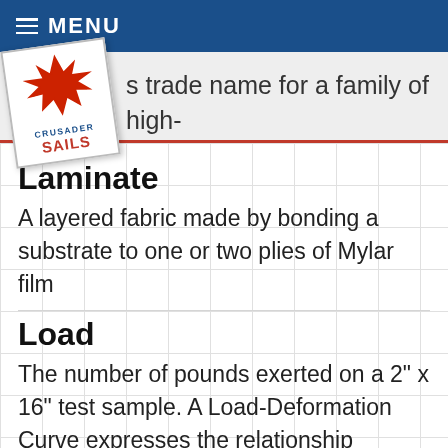MENU
[Figure (logo): Crusader Sails logo — a Maltese cross in red on a white card tilted slightly, with 'CRUSADER' and 'SAILS' text below the cross.]
s trade name for a family of high-strength aramid fibres
Laminate
A layered fabric made by bonding a substrate to one or two plies of Mylar film
Load
The number of pounds exerted on a 2" x 16" test sample. A Load-Deformation Curve expresses the relationship between the